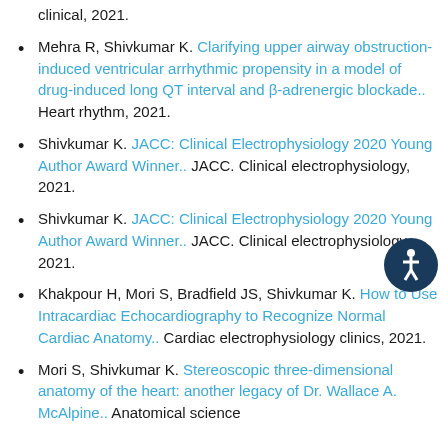clinical, 2021.
Mehra R, Shivkumar K. Clarifying upper airway obstruction-induced ventricular arrhythmic propensity in a model of drug-induced long QT interval and β-adrenergic blockade.. Heart rhythm, 2021.
Shivkumar K. JACC: Clinical Electrophysiology 2020 Young Author Award Winner.. JACC. Clinical electrophysiology, 2021.
Shivkumar K. JACC: Clinical Electrophysiology 2020 Young Author Award Winner.. JACC. Clinical electrophysiology, 2021.
Khakpour H, Mori S, Bradfield JS, Shivkumar K. How to Use Intracardiac Echocardiography to Recognize Normal Cardiac Anatomy.. Cardiac electrophysiology clinics, 2021.
Mori S, Shivkumar K. Stereoscopic three-dimensional anatomy of the heart: another legacy of Dr. Wallace A. McAlpine.. Anatomical science